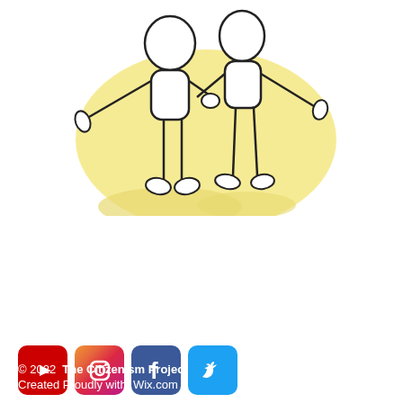[Figure (illustration): Two stick figures standing side by side with yellow/pale background highlight, hand-drawn style with black outlines showing bodies, arms outstretched, and legs with feet]
The Pain Opioid Epidemic Project  is  an initiative of The Citizenism Project. We are a group of committed citizens motivated by the belief that citizen participation  will contribute to solutions to the big problems that confront our nation.
[Figure (logo): Social media icons row: YouTube (red), Instagram (gradient), Facebook (blue), Twitter (cyan)]
© 2022  The Citizenism Project
Created Proudly with  Wix.com